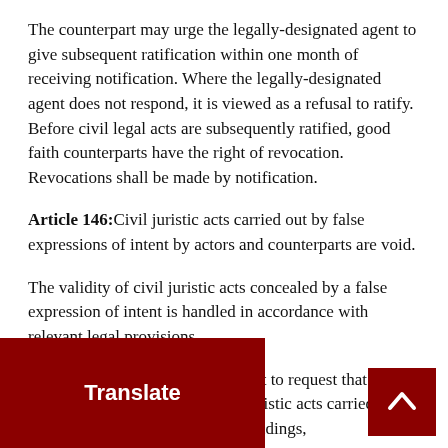The counterpart may urge the legally-designated agent to give subsequent ratification within one month of receiving notification. Where the legally-designated agent does not respond, it is viewed as a refusal to ratify. Before civil legal acts are subsequently ratified, good faith counterparts have the right of revocation. Revocations shall be made by notification.
Article 146:Civil juristic acts carried out by false expressions of intent by actors and counterparts are void.
The validity of civil juristic acts concealed by a false expression of intent is handled in accordance with relevant legal provisions.
Article 147:The actor has the right to request that a court or arbitration body revoke civil juristic acts carried out on the basis of major misunderstandings,
...led party has the right to request that a